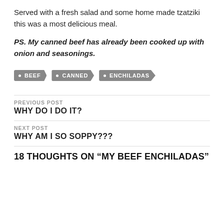Served with a fresh salad and some home made tzatziki this was a most delicious meal.
PS. My canned beef has already been cooked up with onion and seasonings.
BEEF
CANNED
ENCHILADAS
PREVIOUS POST
WHY DO I DO IT?
NEXT POST
WHY AM I SO SOPPY???
18 THOUGHTS ON “MY BEEF ENCHILADAS”